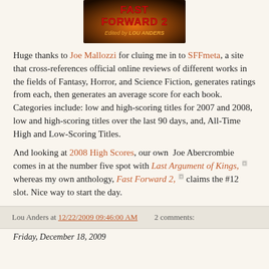[Figure (photo): Book cover image for Fast Forward 2, edited by Lou Anders, with red text on a dark background with orange glow.]
Huge thanks to Joe Mallozzi for cluing me in to SFFmeta, a site that cross-references official online reviews of different works in the fields of Fantasy, Horror, and Science Fiction, generates ratings from each, then generates an average score for each book. Categories include: low and high-scoring titles for 2007 and 2008, low and high-scoring titles over the last 90 days, and, All-Time High and Low-Scoring Titles.
And looking at 2008 High Scores, our own Joe Abercrombie comes in at the number five spot with Last Argument of Kings, whereas my own anthology, Fast Forward 2, claims the #12 slot. Nice way to start the day.
Lou Anders at 12/22/2009 09:46:00 AM   2 comments:
Friday, December 18, 2009